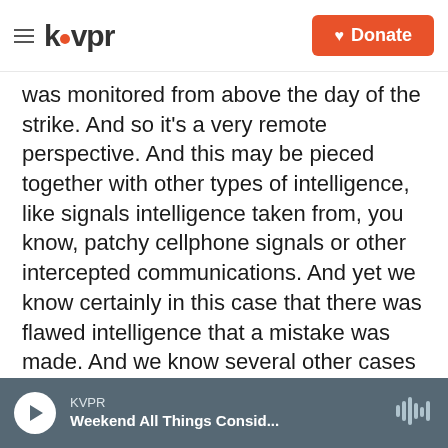kvpr | Donate
was monitored from above the day of the strike. And so it's a very remote perspective. And this may be pieced together with other types of intelligence, like signals intelligence taken from, you know, patchy cellphone signals or other intercepted communications. And yet we know certainly in this case that there was flawed intelligence that a mistake was made. And we know several other cases where the U.S. government has also admitted mistakes.
The drone strike that happened on August 29 happened in Kabul. They were very experienced
KVPR | Weekend All Things Consid...